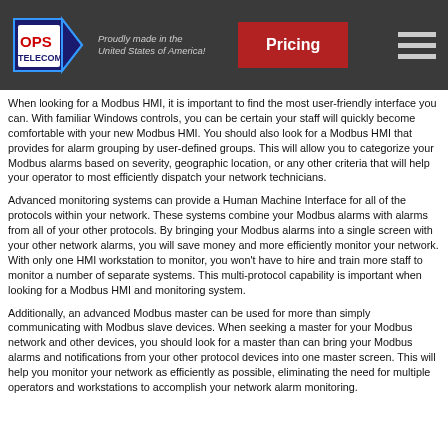OPS Telecom — Proudly made in the United States of America! | Pricing
When looking for a Modbus HMI, it is important to find the most user-friendly interface you can. With familiar Windows controls, you can be certain your staff will quickly become comfortable with your new Modbus HMI. You should also look for a Modbus HMI that provides for alarm grouping by user-defined groups. This will allow you to categorize your Modbus alarms based on severity, geographic location, or any other criteria that will help your operator to most efficiently dispatch your network technicians.
Advanced monitoring systems can provide a Human Machine Interface for all of the protocols within your network. These systems combine your Modbus alarms with alarms from all of your other protocols. By bringing your Modbus alarms into a single screen with your other network alarms, you will save money and more efficiently monitor your network. With only one HMI workstation to monitor, you won't have to hire and train more staff to monitor a number of separate systems. This multi-protocol capability is important when looking for a Modbus HMI and monitoring system.
Additionally, an advanced Modbus master can be used for more than simply communicating with Modbus slave devices. When seeking a master for your Modbus network and other devices, you should look for a master than can bring your Modbus alarms and notifications from your other protocol devices into one master screen. This will help you monitor your network as efficiently as possible, eliminating the need for multiple operators and workstations to accomplish your network alarm monitoring.